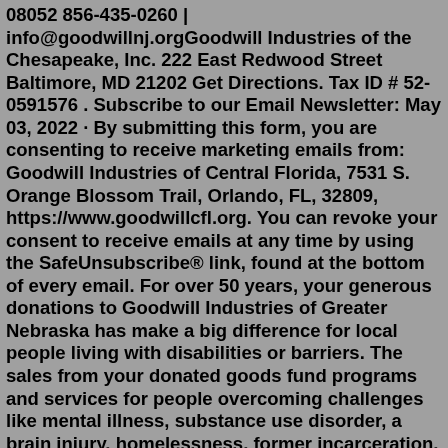08052 856-435-0260 | info@goodwillnj.orgGoodwill Industries of the Chesapeake, Inc. 222 East Redwood Street Baltimore, MD 21202 Get Directions. Tax ID # 52-0591576 . Subscribe to our Email Newsletter: May 03, 2022 · By submitting this form, you are consenting to receive marketing emails from: Goodwill Industries of Central Florida, 7531 S. Orange Blossom Trail, Orlando, FL, 32809, https://www.goodwillcfl.org. You can revoke your consent to receive emails at any time by using the SafeUnsubscribe® link, found at the bottom of every email. For over 50 years, your generous donations to Goodwill Industries of Greater Nebraska has make a big difference for local people living with disabilities or barriers. The sales from your donated goods fund programs and services for people overcoming challenges like mental illness, substance use disorder, a brain injury, homelessness, former incarceration, lack of job skills or an intellectual ... Goodwill Industries of Southeastern Wisconsin is a diverse 501 (c) (3) non-profit community organization governed